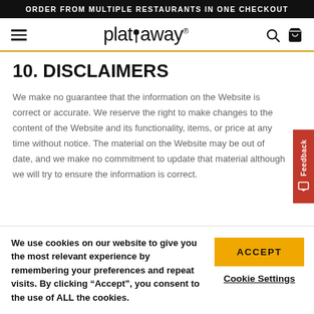ORDER FROM MULTIPLE RESTAURANTS IN ONE CHECKOUT
[Figure (logo): plateaway logo with navigation icons (hamburger menu, search, cart)]
10. DISCLAIMERS
We make no guarantee that the information on the Website is correct or accurate. We reserve the right to make changes to the content of the Website and its functionality, items, or price at any time without notice. The material on the Website may be out of date, and we make no commitment to update that material although we will try to ensure the information is correct.
We use cookies on our website to give you the most relevant experience by remembering your preferences and repeat visits. By clicking “Accept”, you consent to the use of ALL the cookies.